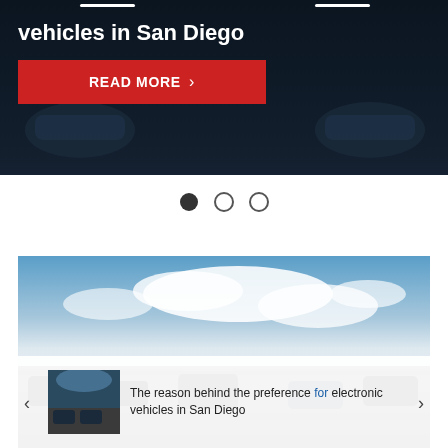[Figure (screenshot): Hero banner with dark navy background showing vehicles, bold white title text 'vehicles in San Diego', and a red READ MORE button with chevron]
vehicles in San Diego
READ MORE >
[Figure (illustration): Three pagination dots: first filled/dark, second and third empty circles]
[Figure (photo): Landscape photo showing blue sky with clouds over a road/track with vehicles]
The reason behind the preference for electronic vehicles in San Diego